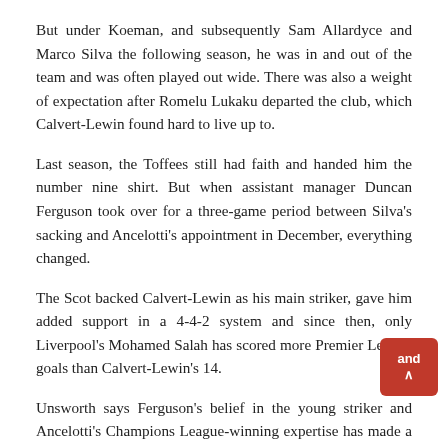But under Koeman, and subsequently Sam Allardyce and Marco Silva the following season, he was in and out of the team and was often played out wide. There was also a weight of expectation after Romelu Lukaku departed the club, which Calvert-Lewin found hard to live up to.
Last season, the Toffees still had faith and handed him the number nine shirt. But when assistant manager Duncan Ferguson took over for a three-game period between Silva's sacking and Ancelotti's appointment in December, everything changed.
The Scot backed Calvert-Lewin as his main striker, gave him added support in a 4-4-2 system and since then, only Liverpool's Mohamed Salah has scored more Premier League goals than Calvert-Lewin's 14.
Unsworth says Ferguson's belief in the young striker and Ancelotti's Champions League-winning expertise has made a huge difference. But it has also allowed Calvert-Lewin to show confidence in his own ability, which Unsworth says has been there from a young age.